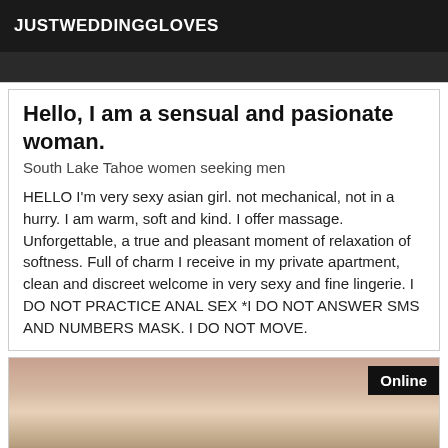JUSTWEDDINGGLOVES
[Figure (photo): Dark cropped photo strip at top of listing card]
Hello, I am a sensual and pasionate woman.
South Lake Tahoe women seeking men
HELLO I'm very sexy asian girl. not mechanical, not in a hurry. I am warm, soft and kind. I offer massage. Unforgettable, a true and pleasant moment of relaxation of softness. Full of charm I receive in my private apartment, clean and discreet welcome in very sexy and fine lingerie. I DO NOT PRACTICE ANAL SEX *I DO NOT ANSWER SMS AND NUMBERS MASK. I DO NOT MOVE.
[Figure (photo): Photo of blonde woman, partially visible face and hair, with Online badge in top right corner]